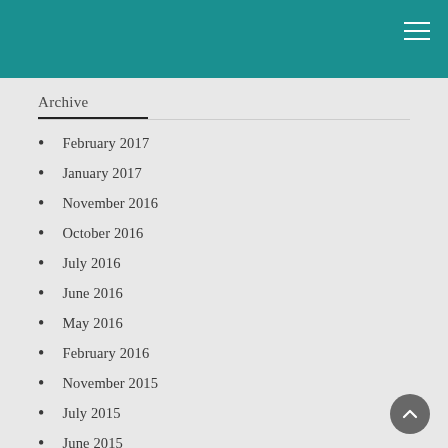Archive
February 2017
January 2017
November 2016
October 2016
July 2016
June 2016
May 2016
February 2016
November 2015
July 2015
June 2015
September 2014
September 2013
August 2013
July 2013